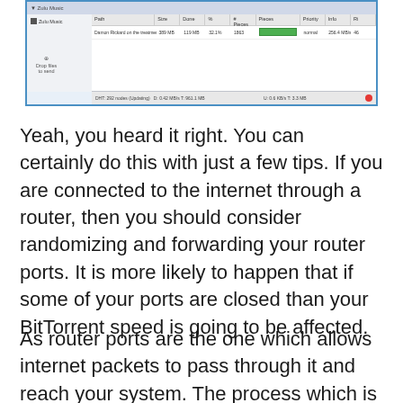[Figure (screenshot): Screenshot of a BitTorrent client application showing a file download in progress with sidebar, file list table with columns (Path, Size, Done, %, # Pieces, Pieces, Priority, Info), a progress bar showing download status, and a status bar at the bottom.]
Yeah, you heard it right. You can certainly do this with just a few tips. If you are connected to the internet through a router, then you should consider randomizing and forwarding your router ports. It is more likely to happen that if some of your ports are closed than your BitTorrent speed is going to be affected.
As router ports are the one which allows internet packets to pass through it and reach your system. The process which is